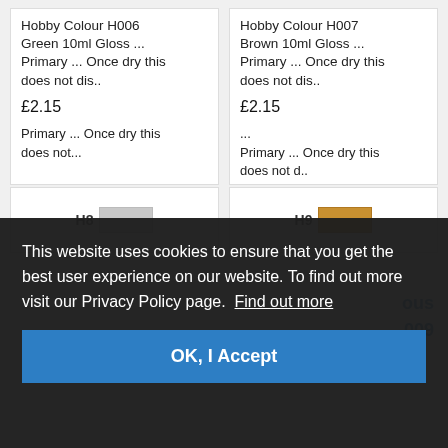Hobby Colour H006 Green 10ml Gloss ... Primary ... Once dry this does not dis..
£2.15
Hobby Colour H007 Brown 10ml Gloss ... Primary ... Once dry this does not dis..
£2.15
[Figure (screenshot): H8 grey swatch label partial product card]
[Figure (screenshot): H9 gold/yellow swatch label partial product card]
This website uses cookies to ensure that you get the best user experience on our website. To find out more visit our Privacy Policy page.  Find out more
ous
009
OK, I Accept
Primary ... Once dry this does not...
Primary ... Once dry this does not d..